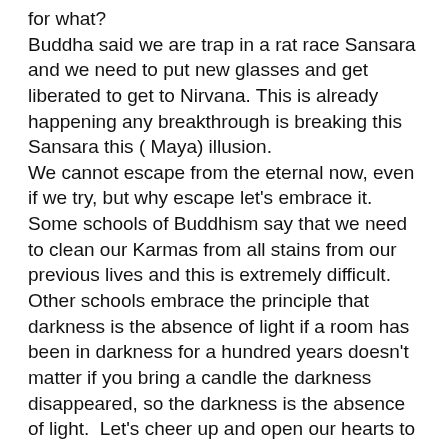for what?
Buddha said we are trap in a rat race Sansara and we need to put new glasses and get liberated to get to Nirvana. This is already happening any breakthrough is breaking this Sansara this ( Maya) illusion.
We cannot escape from the eternal now, even if we try, but why escape let's embrace it. Some schools of Buddhism say that we need to clean our Karmas from all stains from our previous lives and this is extremely difficult. Other schools embrace the principle that darkness is the absence of light if a room has been in darkness for a hundred years doesn't matter if you bring a candle the darkness disappeared, so the darkness is the absence of light.  Let's cheer up and open our hearts to let this light that we keep inside to illuminate our present allowing other candles to share our light.
During the practice of the eight secrets of longevity, you are in the laboratory and the subject of study is you, how you behave during the practice is usually how you handle any